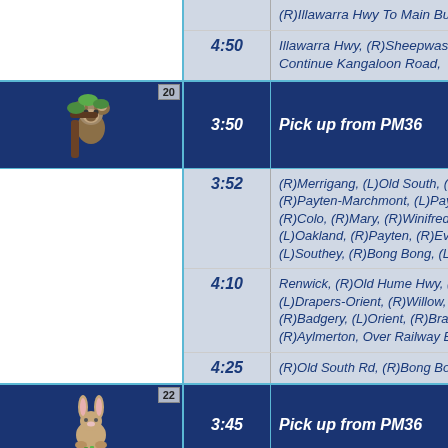| Icon/Route | Time | Description |
| --- | --- | --- |
|  |  | (R)Illawarra Hwy To Main Bus Stop |
|  | 4:50 | Illawarra Hwy, (R)Sheepwash-Kangaloon Rd, Continue Kangaloon Road, |
| 20 [koala icon] | 3:50 | Pick up from PM36 |
|  | 3:52 | (R)Merrigang, (L)Old South, (L)Range, (R)Webb, (R)Payten-Marchmont, (L)Payten, (R)Southey, (R)Colo, (R)Mary, (R)Winifred, (L)Colo, (L)Oakland, (R)Payten, (R)Evans, (R)Colo, (L)Southey, (R)Bong Bong, (L)Renwick |
|  | 4:10 | Renwick, (R)Old Hume Hwy, (L)Braemar, (L)Drapers-Orient, (R)Willow, (R)Carlton, (R)Badgery, (L)Orient, (R)Braemar, (L)Old Hume, (R)Aylmerton, Over Railway Bridge |
|  | 4:25 | (R)Old South Rd, (R)Bong Bong Rd |
| 22 [rabbit icon] | 3:45 | Pick up from PM36 |
|  | 3:51 | (R)Bong Bong, (L)Wingecarribee, Over Bridge, (R)Kirkham, (L)Centennial Rd, (R)Old Hume Hwy, (L)Into Wombeyan Caves Rest Area |
|  | 4:10 | Wombeyan Caves Rd Rest Area |
|  | 4:10 | (R)Old Hume Hwy, (R)Woodlands, |